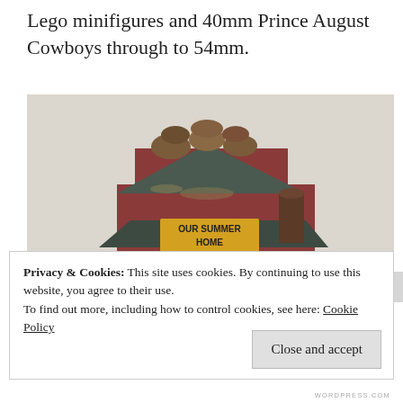Lego minifigures and 40mm Prince August Cowboys through to 54mm.
[Figure (photo): A decorative miniature wooden birdhouse styled as a two-storey building with a sign reading 'OUR SUMMER HOME', dark roof with logs stacked on top, red walls, awning over lower storey, photographed against a white fabric background.]
Privacy & Cookies: This site uses cookies. By continuing to use this website, you agree to their use.
To find out more, including how to control cookies, see here: Cookie Policy